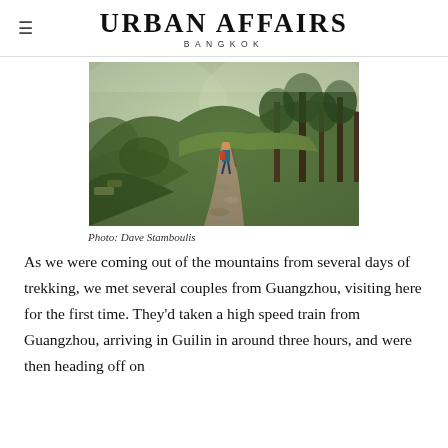URBAN AFFAIRS BANGKOK
[Figure (photo): A hiker walking along a rocky mountain trail through lush green forest and terraced hillsides]
Photo: Dave Stamboulis
As we were coming out of the mountains from several days of trekking, we met several couples from Guangzhou, visiting here for the first time. They’d taken a high speed train from Guangzhou, arriving in Guilin in around three hours, and were then heading off on...